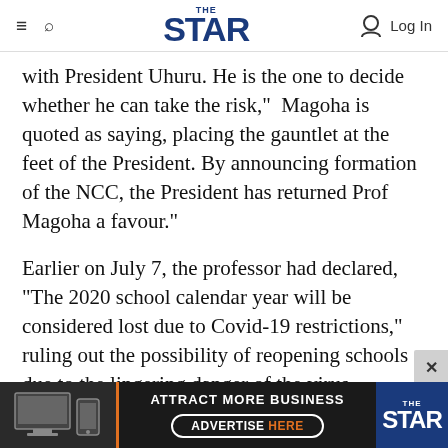THE STAR — Log In
with President Uhuru. He is the one to decide whether he can take the risk,"  Magoha is quoted as saying, placing the gauntlet at the feet of the President. By announcing formation of the NCC, the President has returned Prof Magoha a favour."
Earlier on July 7, the professor had declared, "The 2020 school calendar year will be considered lost due to Covid-19 restrictions," ruling out the possibility of reopening schools due to the lingering danger of the virus.
But then the Ministry came under immense
[Figure (advertisement): The Star newspaper advertisement banner: 'ATTRACT MORE BUSINESS / ADVERTISE HERE' with device images on the left and The Star logo on the right]